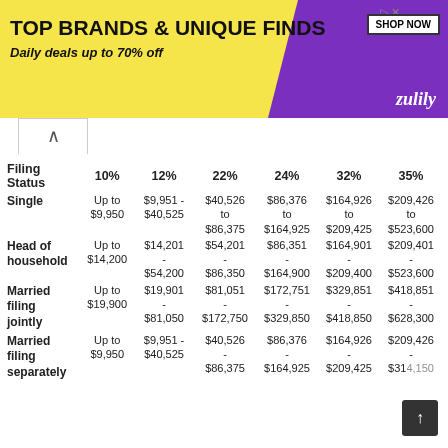[Figure (other): Zulily advertisement banner: TOP BRANDS & UNIQUE FINDS, Daily deals up to 70% off, with shoe and handbag images and SHOP NOW button]
| Filing Status | 10% | 12% | 22% | 24% | 32% | 35% |
| --- | --- | --- | --- | --- | --- | --- |
| Single | Up to $9,950 | $9,951 - $40,525 | $40,526 to $86,375 | $86,376 to $164,925 | $164,926 to $209,425 | $209,426 to $523,600 |
| Head of household | Up to $14,200 | $14,201 - $54,200 | $54,201 - $86,350 | $86,351 - $164,900 | $164,901 - $209,400 | $209,401 - $523,600 |
| Married filing jointly | Up to $19,900 | $19,901 - $81,050 | $81,051 - $172,750 | $172,751 - $329,850 | $329,851 - $418,850 | $418,851 - $628,300 |
| Married filing separately | Up to $9,950 | $9,951 - $40,525 | $40,526 - $86,375 | $86,376 - $164,925 | $164,926 - $209,425 | $209,426 - $314,150 |